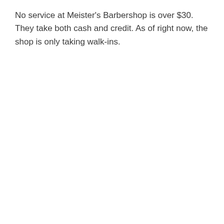No service at Meister's Barbershop is over $30. They take both cash and credit. As of right now, the shop is only taking walk-ins.